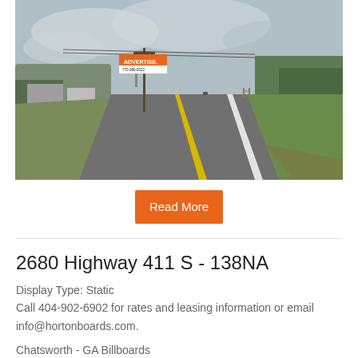[Figure (photo): Outdoor billboard reading ADVERTISE. 770-386-0022 along a rural two-lane highway with utility poles, trees, cloudy sky, and green grass roadside]
Read More
2680 Highway 411 S - 138NA
Display Type: Static
Call 404-902-6902 for rates and leasing information or email info@hortonboards.com.
Chatsworth - GA Billboards